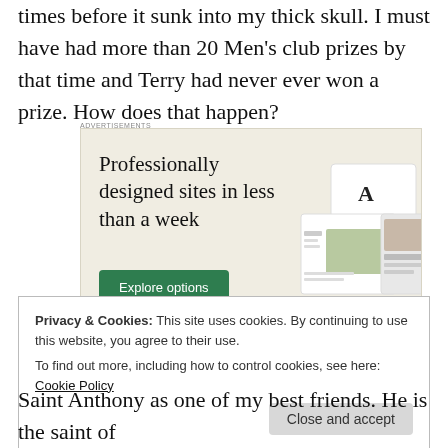times before it sunk into my thick skull. I must have had more than 20 Men's club prizes by that time and Terry had never ever won a prize. How does that happen?
[Figure (other): Advertisement banner for a website builder service reading 'Professionally designed sites in less than a week' with an 'Explore options' button and mockup screenshots of websites.]
Privacy & Cookies: This site uses cookies. By continuing to use this website, you agree to their use.
To find out more, including how to control cookies, see here: Cookie Policy
Saint Anthony as one of my best friends. He is the saint of